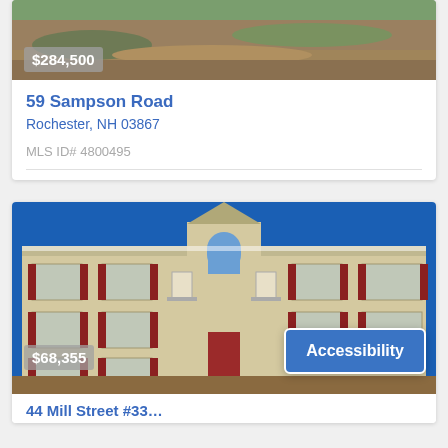[Figure (photo): Aerial or landscape photo of property at 59 Sampson Road with price badge $284,500]
59 Sampson Road
Rochester, NH 03867
MLS ID# 4800495
[Figure (photo): Photo of multi-unit residential building with red shutters, balconies, blue sky, price badge $68,355 and Accessibility button overlay]
$68,355
Accessibility